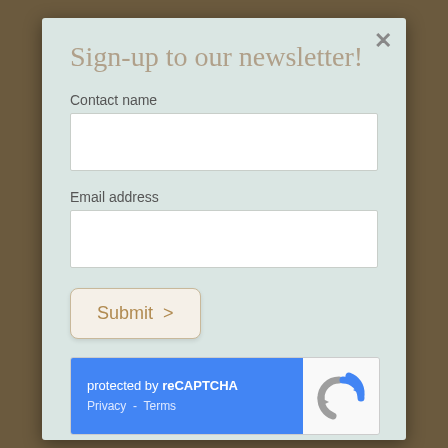Sign-up to our newsletter!
Contact name
Email address
Submit >
[Figure (other): reCAPTCHA widget: blue left panel with text 'protected by reCAPTCHA' and links 'Privacy - Terms', white right panel with reCAPTCHA logo (rotating arrows icon)]
How will we use this information?
Your personal details will be held by the Prestbury Travel Group and will only be used to send you our latest offers and promotions by email. Please